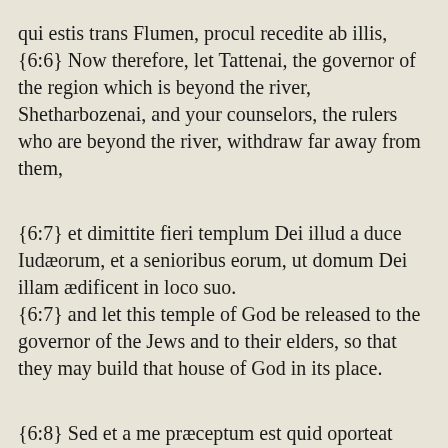qui estis trans Flumen, procul recedite ab illis, {6:6} Now therefore, let Tattenai, the governor of the region which is beyond the river, Shetharbozenai, and your counselors, the rulers who are beyond the river, withdraw far away from them,
{6:7} et dimittite fieri templum Dei illud a duce Iudæorum, et a senioribus eorum, ut domum Dei illam ædificent in loco suo. {6:7} and let this temple of God be released to the governor of the Jews and to their elders, so that they may build that house of God in its place.
{6:8} Sed et a me præceptum est quid oporteat fieri a presbyteris Iudæorum illis ut ædificetur domus Dei, scilicet ut de arca regis, id est, de tributis, quæ dantur de regione trans Flumen, studiose sumptus dentur viris illis ne impediatur opus. {6:8} Moreover, it has been instructed by me as to what